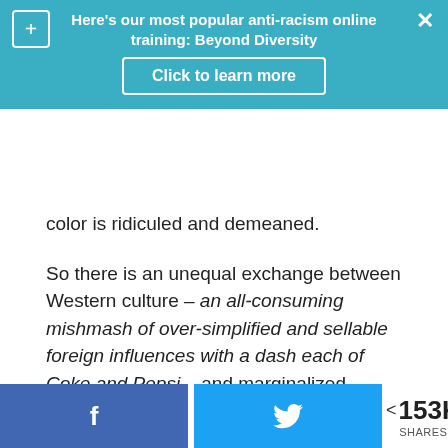Here's our most popular anti-racism online training: Beyond Diversity
Click to learn more
color is ridiculed and demeaned.
So there is an unequal exchange between Western culture – an all-consuming mishmash of over-simplified and sellable foreign influences with a dash each of Coke and Pepsi – and marginalized cultures.
People of all cultures wear business suits and collared shirts to survive. But when one is of the dominant culture, adopting the clothing, food, or
f  [Facebook]    [Twitter bird]    < 153K SHARES